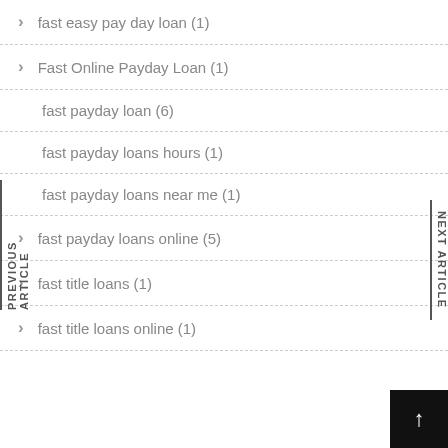fast easy pay day loan (1)
Fast Online Payday Loan (1)
fast payday loan (6)
fast payday loans hours (1)
fast payday loans near me (1)
fast payday loans online (5)
fast title loans (1)
fast title loans online (1)